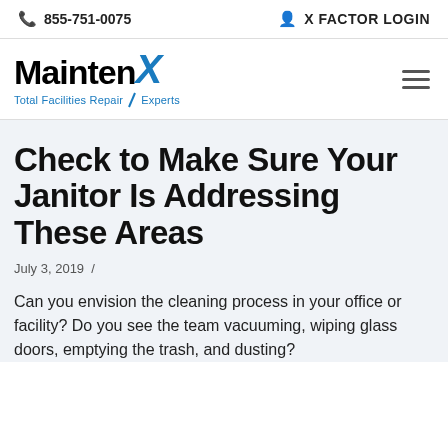855-751-0075   X FACTOR LOGIN
[Figure (logo): MaintenX logo — word 'MaintenX' in bold black with X in blue italic, subtitle 'Total Facilities Repair / Experts' in blue]
Check to Make Sure Your Janitor Is Addressing These Areas
July 3, 2019 /
Can you envision the cleaning process in your office or facility? Do you see the team vacuuming, wiping glass doors, emptying the trash, and dusting?